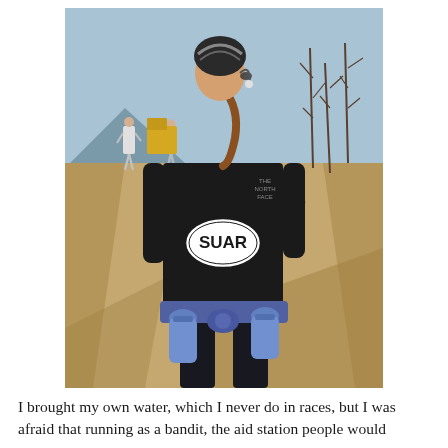[Figure (photo): A runner seen from behind wearing a black North Face jacket with a white oval sticker on the back reading 'SUAR', a striped cap, ponytail, and a hydration belt with two blue water bottles. Other runners are visible in the background on a dirt road with bare trees and mountains.]
I brought my own water, which I never do in races, but I was afraid that running as a bandit, the aid station people would